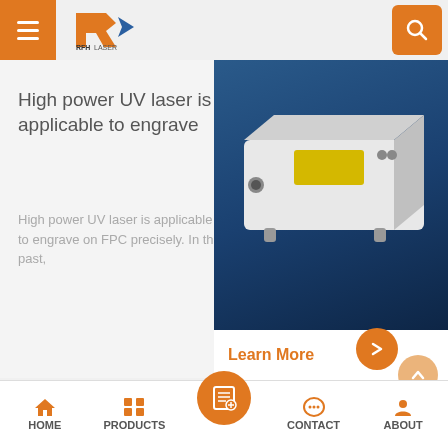[Figure (logo): RFH Laser company logo with orange geometric R and blue arrow icon, text reads RFH LASER]
High power UV laser is applicable to engrave
High power UV laser is applicable to engrave on FPC precisely. In the past,
[Figure (photo): White rectangular industrial UV laser unit on dark blue background]
Learn More
HOME   PRODUCTS   CONTACT   ABOUT